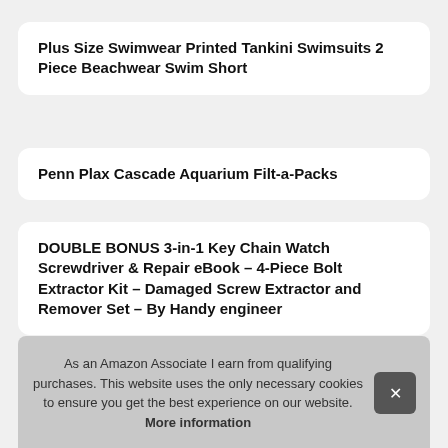Plus Size Swimwear Printed Tankini Swimsuits 2 Piece Beachwear Swim Short
Penn Plax Cascade Aquarium Filt-a-Packs
DOUBLE BONUS 3-in-1 Key Chain Watch Screwdriver & Repair eBook – 4-Piece Bolt Extractor Kit – Damaged Screw Extractor and Remover Set – By Handy engineer
T W
As an Amazon Associate I earn from qualifying purchases. This website uses the only necessary cookies to ensure you get the best experience on our website. More information